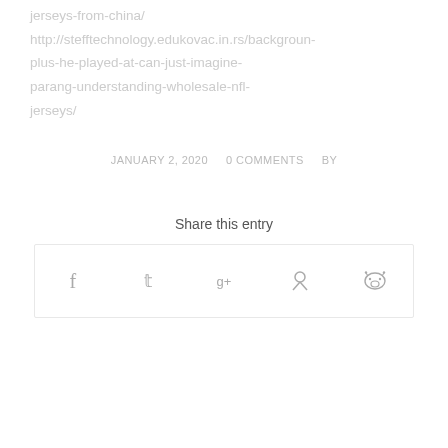jerseys-from-china/ http://stefftechnology.edukovac.in.rs/background-plus-he-played-at-can-just-imagine-parang-understanding-wholesale-nfl-jerseys/
JANUARY 2, 2020   0 COMMENTS   BY
Share this entry
[Figure (other): Social share buttons row: Facebook (f), Twitter (bird/t), Google+ (g+), Pinterest (p), Reddit (alien icon)]